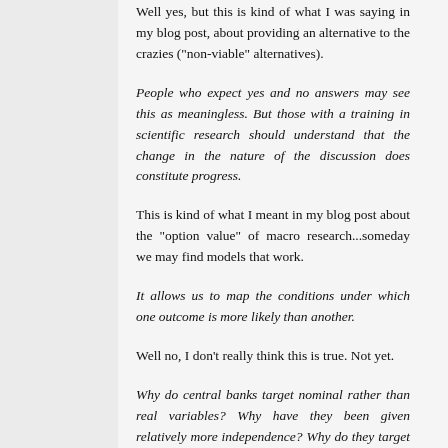Well yes, but this is kind of what I was saying in my blog post, about providing an alternative to the crazies ("non-viable" alternatives).
People who expect yes and no answers may see this as meaningless. But those with a training in scientific research should understand that the change in the nature of the discussion does constitute progress.
This is kind of what I meant in my blog post about the "option value" of macro research...someday we may find models that work.
It allows us to map the conditions under which one outcome is more likely than another.
Well no, I don't really think this is true. Not yet.
Why do central banks target nominal rather than real variables? Why have they been given relatively more independence? Why do they target interest rates rather than monetary